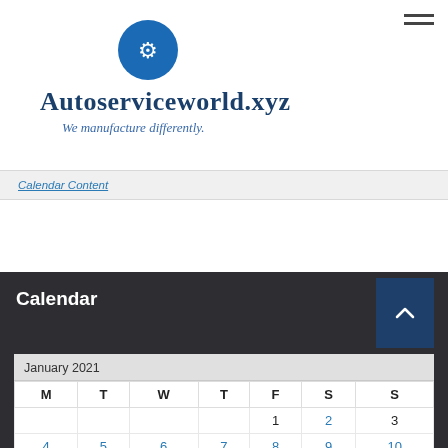[Figure (logo): Autoserviceworld.xyz logo with blue circle icon, wrench/gear graphic, and text 'Autoserviceworld.xyz We manufacture differently.']
Calendar Content
Calendar
| M | T | W | T | F | S | S |
| --- | --- | --- | --- | --- | --- | --- |
|  |  |  |  | 1 | 2 | 3 |
| 4 | 5 | 6 | 7 | 8 | 9 | 10 |